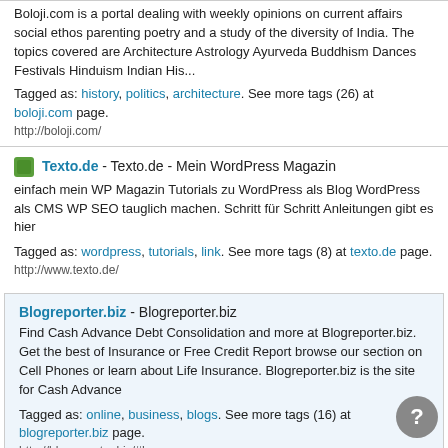Boloji.com is a portal dealing with weekly opinions on current affairs social ethos parenting poetry and a study of the diversity of India. The topics covered are Architecture Astrology Ayurveda Buddhism Dances Festivals Hinduism Indian His...
Tagged as: history, politics, architecture. See more tags (26) at boloji.com page.
http://boloji.com/
Texto.de - Texto.de - Mein WordPress Magazin
einfach mein WP Magazin Tutorials zu WordPress als Blog WordPress als CMS WP SEO tauglich machen. Schritt für Schritt Anleitungen gibt es hier
Tagged as: wordpress, tutorials, link. See more tags (8) at texto.de page.
http://www.texto.de/
Blogreporter.biz - Blogreporter.biz
Find Cash Advance Debt Consolidation and more at Blogreporter.biz. Get the best of Insurance or Free Credit Report browse our section on Cell Phones or learn about Life Insurance. Blogreporter.biz is the site for Cash Advance
Tagged as: online, business, blogs. See more tags (16) at blogreporter.biz page.
http://blogreporter.biz/#!
Poemofquotes.com Favicon  Poemofquotes.com -